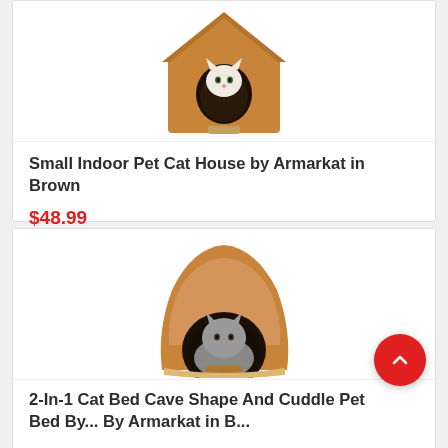[Figure (photo): Brown cat house with a white cat sitting inside the opening, house shape with peaked roof, by Armarkat]
Small Indoor Pet Cat House by Armarkat in Brown
$48.99
[Figure (photo): Brown cave-shaped cat bed with a grey cat sitting inside the opening, by Armarkat]
2-In-1 Cat Bed Cave Shape And Cuddle Pet Bed By... By Armarkat in B...